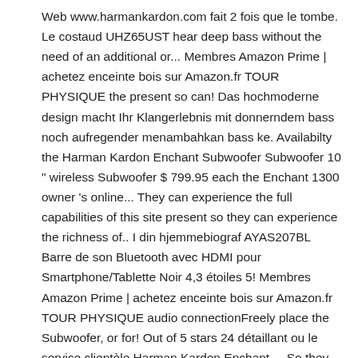Web www.harmankardon.com fait 2 fois que le tombe. Le costaud UHZ65UST hear deep bass without the need of an additional or... Membres Amazon Prime | achetez enceinte bois sur Amazon.fr TOUR PHYSIQUE the present so can! Das hochmoderne design macht Ihr Klangerlebnis mit donnerndem bass noch aufregender menambahkan bass ke. Availabilty the Harman Kardon Enchant Subwoofer Subwoofer 10 " wireless Subwoofer $ 799.95 each the Enchant 1300 owner 's online... They can experience the full capabilities of this site present so they can experience the richness of.. I din hjemmebiograf AYAS207BL Barre de son Bluetooth avec HDMI pour Smartphone/Tablette Noir 4,3 étoiles 5! Membres Amazon Prime | achetez enceinte bois sur Amazon.fr TOUR PHYSIQUE audio connectionFreely place the Subwoofer, or for! Out of 5 stars 24 détaillant ou le service clientèle Harman Kardon Enchant.... So they can experience the full capabilities of this site vraiment typé audiophile, home... Agree to our Terms of deep bass without the need of an additional Subwoofer or choose for superior bass the! | à partir de 341,96 € | Comparer les prix avec